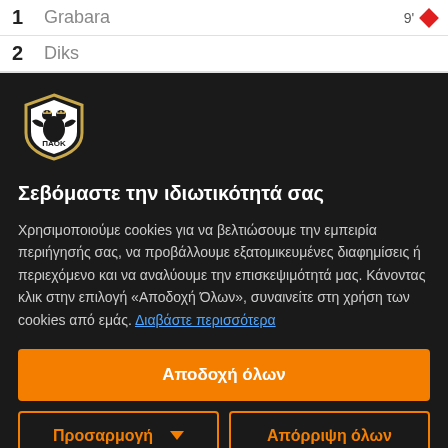1  Grabara  9'
2  Diks
[Figure (logo): PAOK FC crest logo — black and white shield with eagle emblem and gold border, text ΠΑΟΚ]
Σεβόμαστε την ιδιωτικότητά σας
Χρησιμοποιούμε cookies για να βελτιώσουμε την εμπειρία περιήγησής σας, να προβάλλουμε εξατομικευμένες διαφημίσεις ή περιεχόμενο και να αναλύουμε την επισκεψιμότητά μας. Κάνοντας κλικ στην επιλογή «Αποδοχή Όλων», συναινείτε στη χρήση των cookies από εμάς. Διαβάστε περισσότερα
Αποδοχή όλων
Προσαρμογή
Απόρριψη όλων